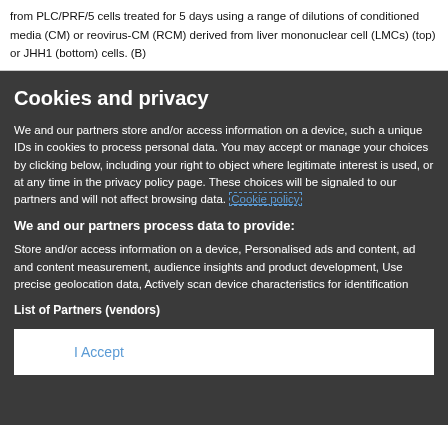from PLC/PRF/5 cells treated for 5 days using a range of dilutions of conditioned media (CM) or reovirus-CM (RCM) derived from liver mononuclear cell (LMCs) (top) or JHH1 (bottom) cells. (B)
Cookies and privacy
We and our partners store and/or access information on a device, such a unique IDs in cookies to process personal data. You may accept or manage your choices by clicking below, including your right to object where legitimate interest is used, or at any time in the privacy policy page. These choices will be signaled to our partners and will not affect browsing data. Cookie policy
We and our partners process data to provide:
Store and/or access information on a device, Personalised ads and content, ad and content measurement, audience insights and product development, Use precise geolocation data, Actively scan device characteristics for identification
List of Partners (vendors)
I Accept